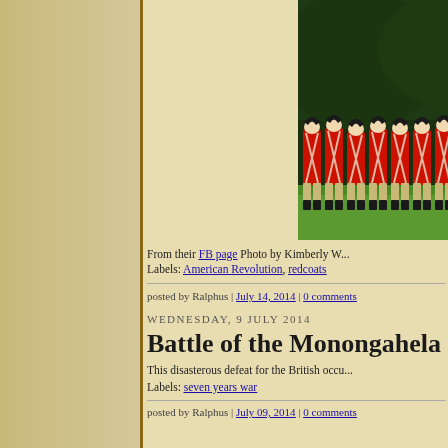[Figure (photo): Historical reenactors dressed as British redcoat soldiers in red uniforms with white cross-belts, marching in formation on a green grass field with trees in the background]
From their FB page Photo by Kimberly W...
Labels: American Revolution, redcoats
posted by Ralphus | July 14, 2014 | 0 comments
WEDNESDAY, 9 JULY 2014
Battle of the Monongahela
This disasterous defeat for the British occu...
Labels: seven years war
posted by Ralphus | July 09, 2014 | 0 comments